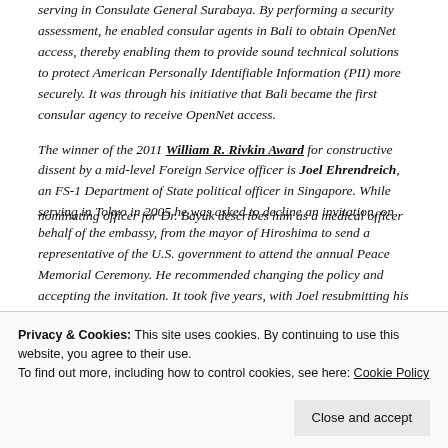serving in Consulate General Surabaya. By performing a security assessment, he enabled consular agents in Bali to obtain OpenNet access, thereby enabling them to provide sound technical solutions to protect American Personally Identifiable Information (PII) more securely. It was through his initiative that Bali became the first consular agency to receive OpenNet access.
The winner of the 2011 William R. Rivkin Award for constructive dissent by a mid-level Foreign Service officer is Joel Ehrendreich, an FS-1 Department of State political officer in Singapore. While serving in Tokyo in 2005 he was asked to decline an invitation, on behalf of the embassy, from the mayor of Hiroshima to send a representative of the U.S. government to attend the annual Peace Memorial Ceremony. He recommended changing the policy and accepting the invitation. It took five years, with Joel resubmitting his dissent each year, to change this policy, but in 2010 Ambassador
nominating officer for Dr. Bayuk describes him as a medical officer
Privacy & Cookies: This site uses cookies. By continuing to use this website, you agree to their use.
To find out more, including how to control cookies, see here: Cookie Policy